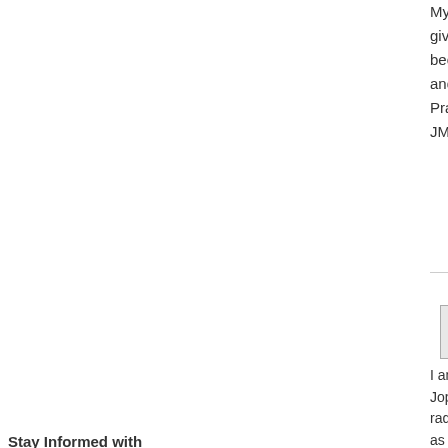My information is ongoing research t... given on year and now it is possibly 2... become more important than quantity... and let God.
Praying for you,
JMS4800
13 years ago
jms4800 replied to leahquestio...
I am 62 and have had a great full life... Joplin Mo, and have many friends ar... radiation. My feet are swollen and I h... as bad as I thought if I take the naus... form, stage 4. Survived surgery , still... sense of taste. I am focusing on qual... Keep in touch.
JMS4800
Stay Informed with Newsletters
Sign up for the Cancer newsletter and keep up with all the latest news, treatments, and research from WebMD.
I have read and agree to WebMD's Privacy Policy.
13 years ago
jms4800 responded:
LIzardoli, Yeah I was placed in the ph... induced rage against my wife, who l...